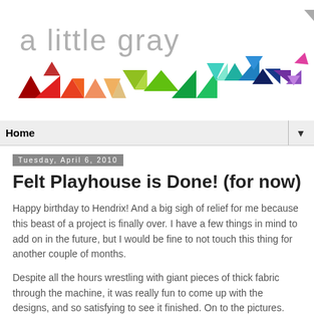[Figure (logo): Blog header 'a little gray' in gray text with colorful geometric triangle pattern decorations in rainbow colors]
Home ▼
Tuesday, April 6, 2010
Felt Playhouse is Done! (for now)
Happy birthday to Hendrix! And a big sigh of relief for me because this beast of a project is finally over. I have a few things in mind to add on in the future, but I would be fine to not touch this thing for another couple of months.
Despite all the hours wrestling with giant pieces of thick fabric through the machine, it was really fun to come up with the designs, and so satisfying to see it finished. On to the pictures.